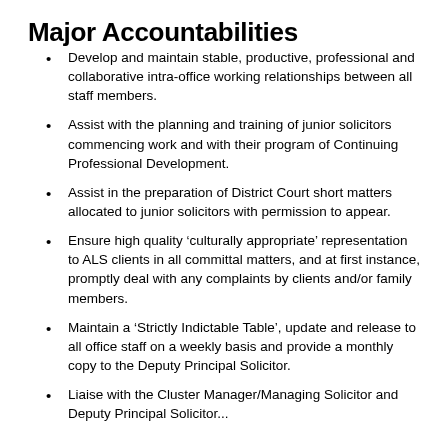Major Accountabilities
Develop and maintain stable, productive, professional and collaborative intra-office working relationships between all staff members.
Assist with the planning and training of junior solicitors commencing work and with their program of Continuing Professional Development.
Assist in the preparation of District Court short matters allocated to junior solicitors with permission to appear.
Ensure high quality ‘culturally appropriate’ representation to ALS clients in all committal matters, and at first instance, promptly deal with any complaints by clients and/or family members.
Maintain a ‘Strictly Indictable Table’, update and release to all office staff on a weekly basis and provide a monthly copy to the Deputy Principal Solicitor.
Liaise with the Cluster Manager/Managing Solicitor and Deputy Principal Solicitor...